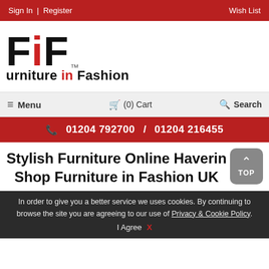Sign In | Register    Wish List
[Figure (logo): FiF Furniture in Fashion logo with large stylized letters F, i (red), F in black and tagline 'urniture in Fashion' with TM mark]
≡ Menu   🛒 (0) Cart   🔍 Search
📞 01204 792700 / 01204 216455
Stylish Furniture Online Haverin... Shop Furniture in Fashion UK
In order to give you a better service we uses cookies. By continuing to browse the site you are agreeing to our use of Privacy & Cookie Policy. I Agree X